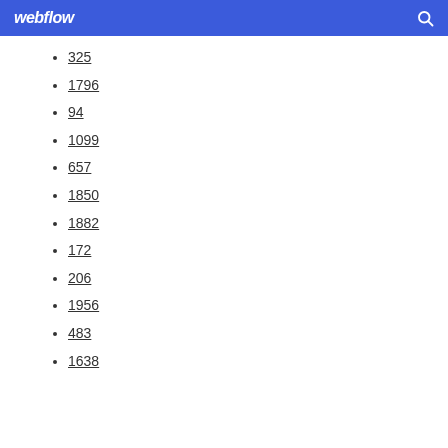webflow
325
1796
94
1099
657
1850
1882
172
206
1956
483
1638